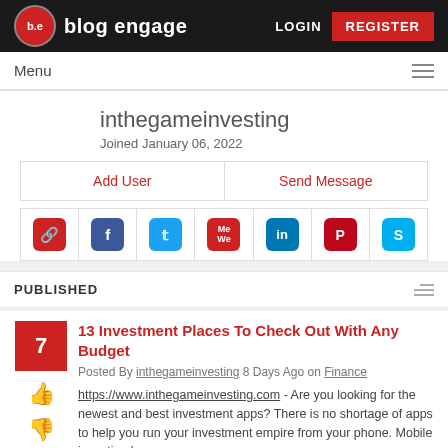b.e blog engage | LOGIN | REGISTER
Menu
inthegameinvesting
Joined January 06, 2022
Add User | Send Message
PUBLISHED
13 Investment Places To Check Out With Any Budget
Posted By inthegameinvesting 8 Days Ago on Finance
https://www.inthegameinvesting.com - Are you looking for the newest and best investment apps? There is no shortage of apps to help you run your investment empire from your phone. Mobile investing has